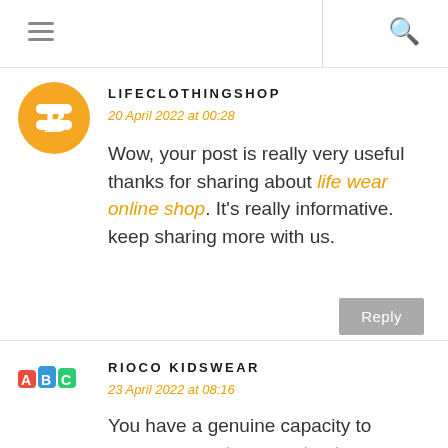≡  🔍
[Figure (logo): Blogger orange circle logo with white B]
LIFECLOTHINGSHOP
20 April 2022 at 00:28
Wow, your post is really very useful thanks for sharing about life wear online shop. It's really informative. keep sharing more with us.
[Figure (logo): Rioco Kidswear logo image]
RIOCO KIDSWEAR
23 April 2022 at 08:16
You have a genuine capacity to compose a substance that is